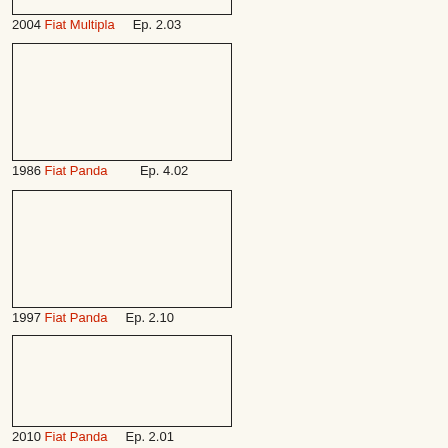[Figure (photo): Empty image box at top (partially visible), for 2004 Fiat Multipla]
2004 Fiat Multipla    Ep. 2.03
[Figure (photo): Empty image box for 1986 Fiat Panda]
1986 Fiat Panda          Ep. 4.02
[Figure (photo): Empty image box for 1997 Fiat Panda]
1997 Fiat Panda    Ep. 2.10
[Figure (photo): Empty image box for 2010 Fiat Panda]
2010 Fiat Panda    Ep. 2.01
[Figure (photo): Partially visible image box at bottom]